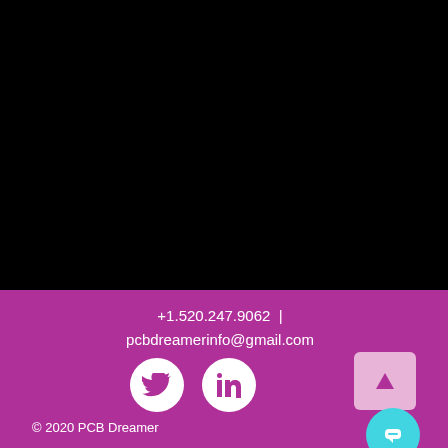[Figure (screenshot): Black video/image area occupying upper portion of page]
+1.520.247.9062  |  pcbdreamerinfo@gmail.com
[Figure (illustration): Twitter and LinkedIn social media icons as white circles on purple background, plus scroll-to-top button and chat button]
© 2020 PCB Dreamer